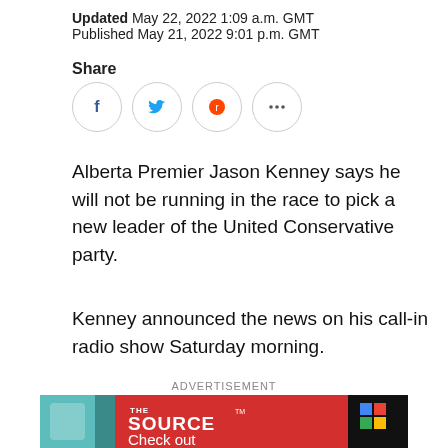Updated May 22, 2022 1:09 a.m. GMT
Published May 21, 2022 9:01 p.m. GMT
Share
[Figure (other): Social share icons: Facebook, Twitter, Reddit, and more (ellipsis) — each in a circle outline]
Alberta Premier Jason Kenney says he will not be running in the race to pick a new leader of the United Conservative party.
Kenney announced the news on his call-in radio show Saturday morning.
ADVERTISEMENT
[Figure (photo): Advertisement banner for The Source showing two smartphones on a red background with the text THE SOURCE and Check out]